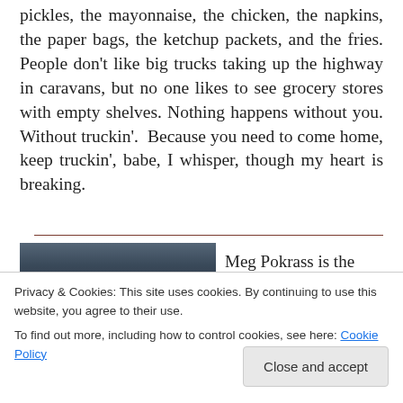pickles, the mayonnaise, the chicken, the napkins, the paper bags, the ketchup packets, and the fries. People don't like big trucks taking up the highway in caravans, but no one likes to see grocery stores with empty shelves. Nothing happens without you. Without truckin'.  Because you need to come home, keep truckin', babe, I whisper, though my heart is breaking.
[Figure (photo): Author photo of Meg Pokrass, partially visible, dark tones]
Meg Pokrass is the
Washington S...
Privacy & Cookies: This site uses cookies. By continuing to use this website, you agree to their use.
To find out more, including how to control cookies, see here: Cookie Policy
Close and accept